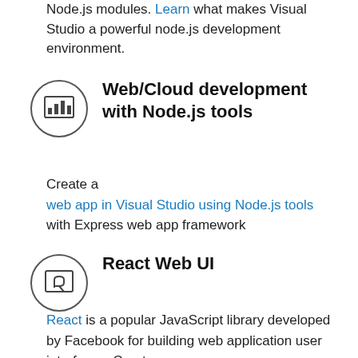Node.js modules. Learn what makes Visual Studio a powerful node.js development environment.
Web/Cloud development with Node.js tools
Create a web app in Visual Studio using Node.js tools with Express web app framework
React Web UI
React is a popular JavaScript library developed by Facebook for building web application user interfaces. Create a simple web app using Node.js tools in Visual